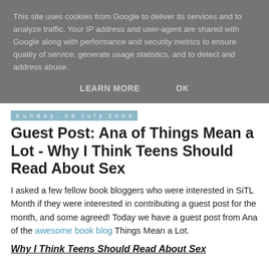This site uses cookies from Google to deliver its services and to analyze traffic. Your IP address and user-agent are shared with Google along with performance and security metrics to ensure quality of service, generate usage statistics, and to detect and address abuse.
LEARN MORE   OK
Sunday, 26 July 2009
Guest Post: Ana of Things Mean a Lot - Why I Think Teens Should Read About Sex
I asked a few fellow book bloggers who were interested in SiTL Month if they were interested in contributing a guest post for the month, and some agreed! Today we have a guest post from Ana of the awesome book blog Things Mean a Lot.
Why I Think Teens Should Read About Sex